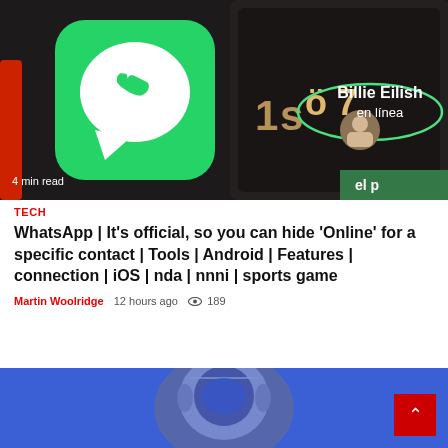[Figure (photo): WhatsApp app icon (green with white phone in speech bubble) overlaid on a dark smartphone screen showing 'Billie Eilish en línea' (online) in WhatsApp. Text '4 min read' in bottom-left corner of image.]
4 min read
TECH
WhatsApp | It's official, so you can hide 'Online' for a specific contact | Tools | Android | Features | connection | iOS | nda | nnni | sports game
Martin Woolridge  12 hours ago  👁 189
[Figure (photo): Partial view of a figure/person with a blue background, bottom portion of the page.]